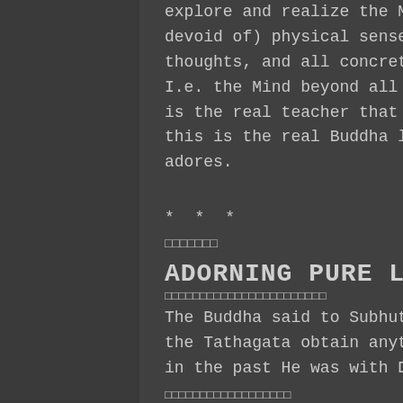explore and realize the Mind that is free of (not devoid of) physical senses, emotional states, mental thoughts, and all concrete and subtle phenomena.  I.e. the Mind beyond all things (and nothing).  This is the real teacher that the Buddha learnt from, this is the real Buddha land that Bodhisattva adores.
* * *
□□□□□□□
ADORNING PURE LANDS, TEN
□□□□□□□□□□□□□□□□□□□□□□□
The Buddha said to Subhuti:"What do you think.? Did the Tathagata obtain anything from: he Dharma, when in the past He was with Dipamkara Buddha?"
□□□□□□□□□□□□□□□□□□